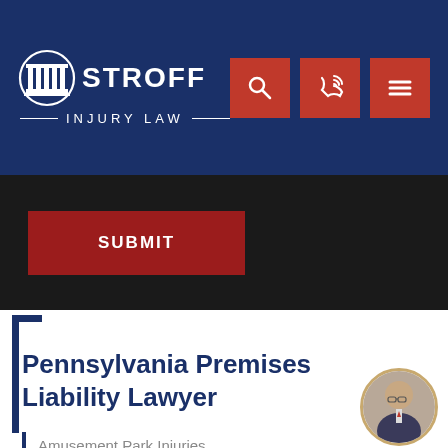[Figure (logo): Stroff Injury Law logo - white columns icon with firm name and tagline on dark navy background]
[Figure (screenshot): Navigation icons: search magnifying glass, phone/call icon, and hamburger menu icon, each on a red square button]
[Figure (screenshot): Dark black submit form area with a dark red SUBMIT button]
Pennsylvania Premises Liability Lawyer
[Figure (photo): Circular headshot photo of a male attorney wearing glasses and a suit]
Amusement Park Injuries